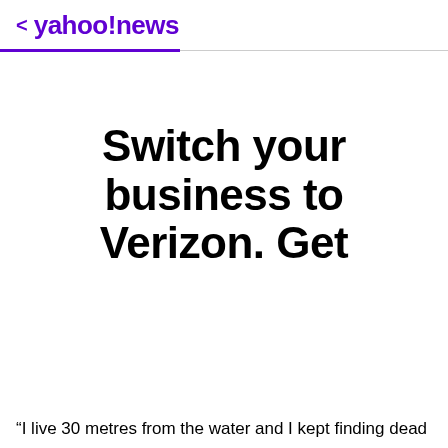< yahoo!news
[Figure (infographic): Advertisement banner for Verizon Business reading 'Switch your business to Verizon. Get']
Switch your business to Verizon. Get
“I live 30 metres from the water and I kept finding dead